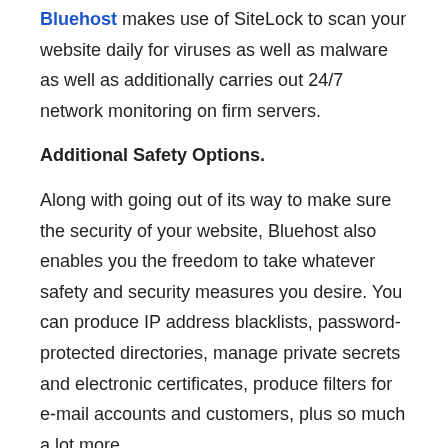Bluehost makes use of SiteLock to scan your website daily for viruses as well as malware as well as additionally carries out 24/7 network monitoring on firm servers.
Additional Safety Options.
Along with going out of its way to make sure the security of your website, Bluehost also enables you the freedom to take whatever safety and security measures you desire. You can produce IP address blacklists, password-protected directories, manage private secrets and electronic certificates, produce filters for e-mail accounts and customers, plus so much a lot more.
The only feasible drawback to Bluehost's safety and security is that the company does backups at its own discretion.
Therefore, you should do your very own daily backups for complete protection.